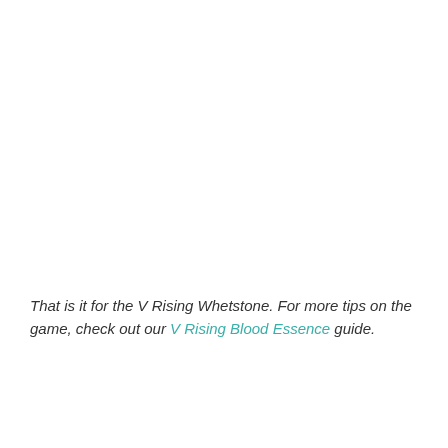That is it for the V Rising Whetstone. For more tips on the game, check out our V Rising Blood Essence guide.